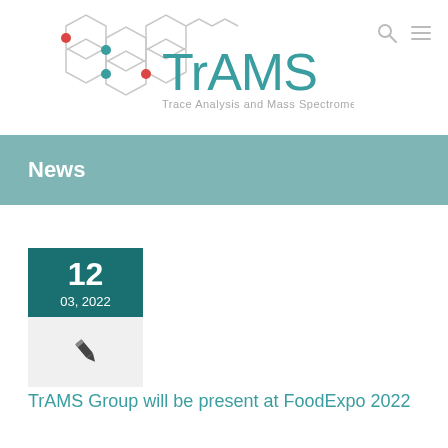[Figure (logo): TrAMS - Trace Analysis and Mass Spectrometry Group logo with hexagonal molecular structure graphic]
News
[Figure (other): Date block showing 12 / 03, 2022 with a pen/author icon below]
TrAMS Group will be present at FoodExpo 2022